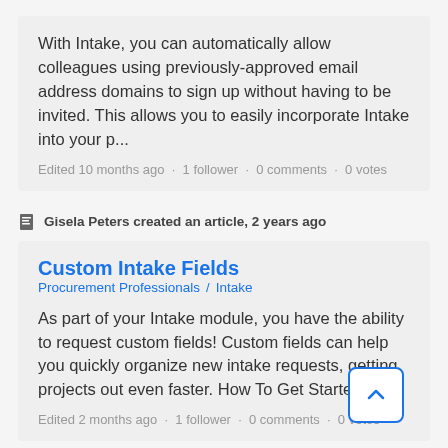With Intake, you can automatically allow colleagues using previously-approved email address domains to sign up without having to be invited. This allows you to easily incorporate Intake into your p...
Edited 10 months ago · 1 follower · 0 comments · 0 votes
Gisela Peters created an article, 2 years ago
Custom Intake Fields
Procurement Professionals / Intake
As part of your Intake module, you have the ability to request custom fields! Custom fields can help you quickly organize new intake requests, getting projects out even faster. How To Get Started ...
Edited 2 months ago · 1 follower · 0 comments · 0 votes